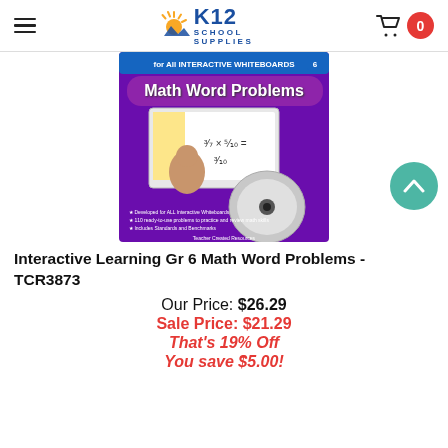K12 School Supplies
[Figure (photo): Book cover for 'Interactive Learning Gr 6 Math Word Problems (TCR3873)' - purple cover with 'for All Interactive Whiteboards' at top, 'Math Word Problems' title, a boy pointing at an interactive whiteboard showing math fractions, and a CD/DVD disc. Teacher Created Resources brand.]
Interactive Learning Gr 6 Math Word Problems - TCR3873
Our Price: $26.29
Sale Price: $21.29
That's 19% Off
You save $5.00!